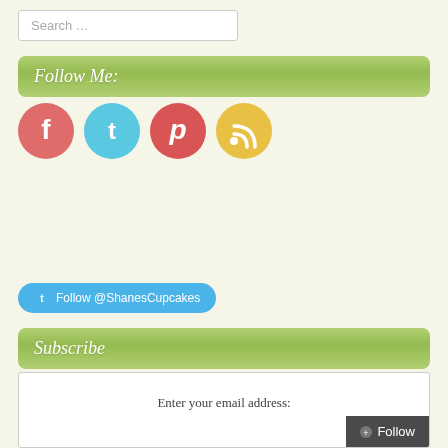Search …
Follow Me:
[Figure (illustration): Four circular social media icons: Facebook (pink-red), Twitter (light blue), Pinterest (red), RSS (yellow)]
Follow @ShanesCupcakes
Subscribe
Enter your email address:
Follow